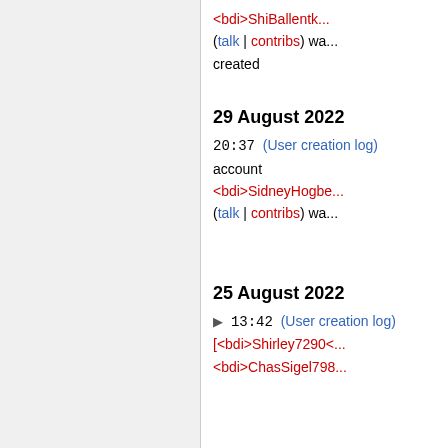(talk | contribs) wa... created
29 August 2022
20:37 (User creation log) account <bdi>SidneyHogbe... (talk | contribs) wa...
25 August 2022
▶ 13:42 (User creation log) [<bdi>Shirley7290<... <bdi>ChasSigel798...
Privacy policy
About Yochai Benkler - Wealth of Networks
Disclaimers